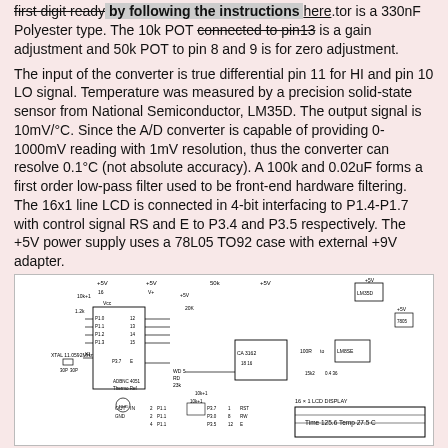first digit ready by following the instructions here. integrating capacitor is a 330nF Polyester type. The 10k POT connected to pin13 is a gain adjustment and 50k POT to pin 8 and 9 is for zero adjustment.
The input of the converter is true differential pin 11 for HI and pin 10 LO signal. Temperature was measured by a precision solid-state sensor from National Semiconductor, LM35D. The output signal is 10mV/°C. Since the A/D converter is capable of providing 0-1000mV reading with 1mV resolution, thus the converter can resolve 0.1°C (not absolute accuracy). A 100k and 0.02uF forms a first order low-pass filter used to be front-end hardware filtering. The 16x1 line LCD is connected in 4-bit interfacing to P1.4-P1.7 with control signal RS and E to P3.4 and P3.5 respectively. The +5V power supply uses a 78L05 TO92 case with external +9V adapter.
[Figure (schematic): Electronic circuit schematic diagram showing an A/D converter circuit with LCD display, LM35D temperature sensor, ATMEL 8051 microcontroller, CA3162 component, 16x1 LCD display showing 'Time 125.6 Temp 27.5 C', various components including resistors, capacitors, power supplies at +5V and +9V.]